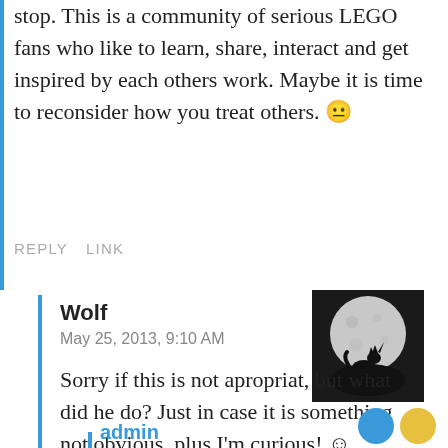stop. This is a community of serious LEGO fans who like to learn, share, interact and get inspired by each others work. Maybe it is time to reconsider how you treat others. 😐
REPLY   LINK
Wolf
May 25, 2013, 9:10 AM
[Figure (photo): Avatar image showing a wolf silhouette howling in front of a full moon against a dark background]
Sorry if this is not apropriat, but what did he do? Just in case it is something not obvious, plus I'm curious! ☺
REPLY   LINK
admin